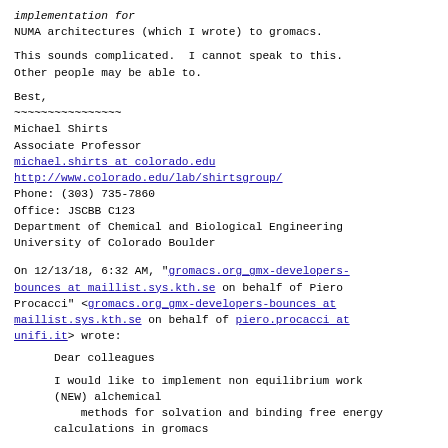implementation for
NUMA architectures (which I wrote) to gromacs.
This sounds complicated.  I cannot speak to this.
Other people may be able to.
Best,
~~~~~~~~~~~~~~~~
Michael Shirts
Associate Professor
michael.shirts at colorado.edu
http://www.colorado.edu/lab/shirtsgroup/
Phone: (303) 735-7860
Office: JSCBB C123
Department of Chemical and Biological Engineering
University of Colorado Boulder
On 12/13/18, 6:32 AM, "gromacs.org_gmx-developers-bounces at maillist.sys.kth.se on behalf of Piero Procacci" <gromacs.org_gmx-developers-bounces at maillist.sys.kth.se on behalf of piero.procacci at unifi.it> wrote:
Dear colleagues
I would like to implement non equilibrium work (NEW) alchemical
    methods for solvation and binding free energy
calculations in gromacs